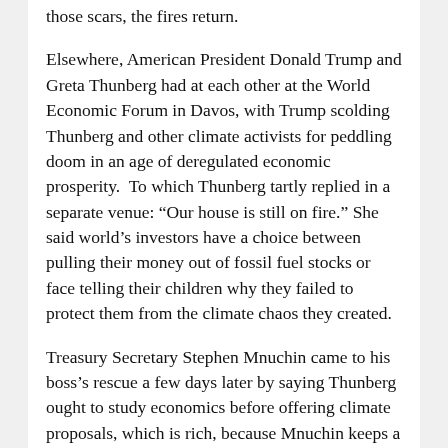those scars, the fires return.
Elsewhere, American President Donald Trump and Greta Thunberg had at each other at the World Economic Forum in Davos, with Trump scolding Thunberg and other climate activists for peddling doom in an age of deregulated economic prosperity.  To which Thunberg tartly replied in a separate venue: “Our house is still on fire.” She said world’s investors have a choice between pulling their money out of fossil fuel stocks or face telling their children why they failed to protect them from the climate chaos they created.
Treasury Secretary Stephen Mnuchin came to his boss’s rescue a few days later by saying Thunberg ought to study economics before offering climate proposals, which is rich, because Mnuchin keeps a steadfast gaze away from economic facts by saying that the Trump 2017 tax cuts were paying for themselves, even though the federal deficit has